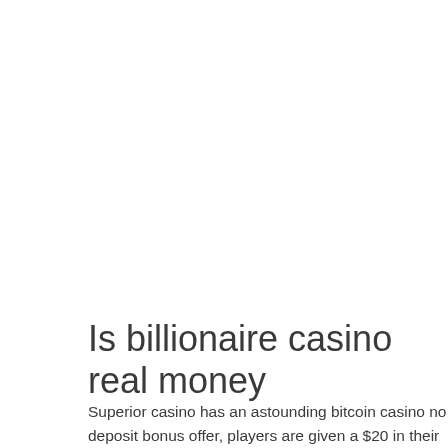Is billionaire casino real money
Superior casino has an astounding bitcoin casino no deposit bonus offer, players are given a $20 in their player account after the